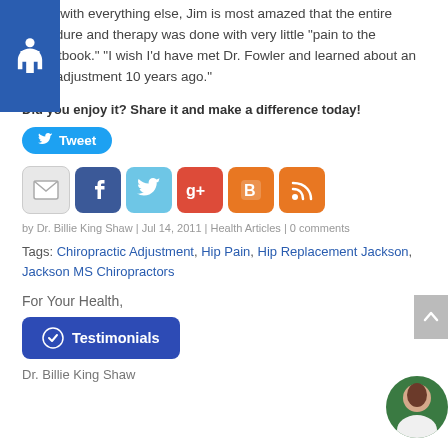Along with everything else, Jim is most amazed that the entire procedure and therapy was done with very little "pain to the pocketbook." "I wish I'd have met Dr. Fowler and learned about an Atlas adjustment 10 years ago."
Did you enjoy it? Share it and make a difference today!
[Figure (other): Tweet button (Twitter share button in blue)]
[Figure (other): Social sharing icons: email, Facebook, Twitter, Google+, Blogger, RSS feed]
by Dr. Billie King Shaw | Jul 14, 2011 | Health Articles | 0 comments
Tags: Chiropractic Adjustment, Hip Pain, Hip Replacement Jackson, Jackson MS Chiropractors
For Your Health,
[Figure (other): Testimonials button in blue]
Dr. Billie King Shaw